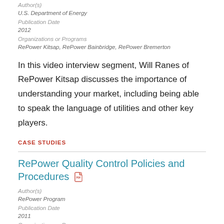Author(s)
U.S. Department of Energy
Publication Date
2012
Organizations or Programs
RePower Kitsap, RePower Bainbridge, RePower Bremerton
In this video interview segment, Will Ranes of RePower Kitsap discusses the importance of understanding your market, including being able to speak the language of utilities and other key players.
CASE STUDIES
RePower Quality Control Policies and Procedures
Author(s)
RePower Program
Publication Date
2011
Organizations or Programs
RePower Kitsap, RePower Bremerton, RePower Bainbridge
This document details the procedures for identifying